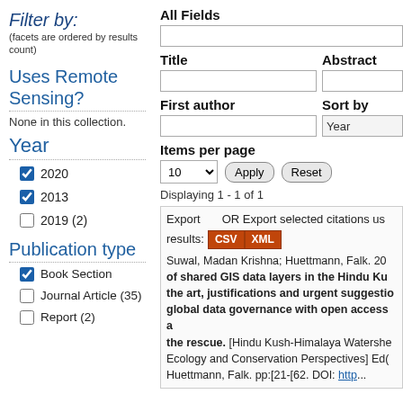Filter by:
(facets are ordered by results count)
Uses Remote Sensing?
None in this collection.
Year
2020 (checked)
2013 (checked)
2019 (2) (unchecked)
Publication type
Book Section (checked)
Journal Article (35) (unchecked)
Report (2) (unchecked)
All Fields
Title
Abstract
First author
Sort by
Items per page
Displaying 1 - 1 of 1
Export   OR Export selected citations us results: CSV XML
Suwal, Madan Krishna; Huettmann, Falk. 20 of shared GIS data layers in the Hindu Ku the art, justifications and urgent suggestio global data governance with open access a the rescue. [Hindu Kush-Himalaya Watershe Ecology and Conservation Perspectives] Ed( Huettmann, Falk. pp:[21-[62. DOI: http...